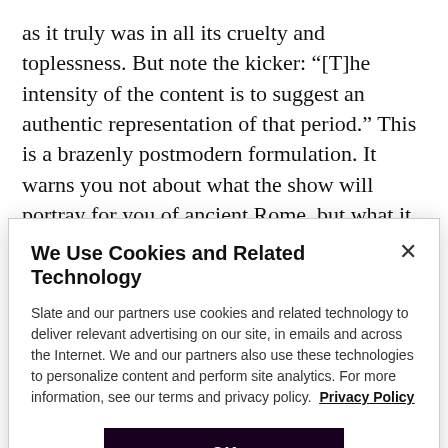as it truly was in all its cruelty and toplessness. But note the kicker: “[T]he intensity of the content is to suggest an authentic representation of that period.” This is a brazenly postmodern formulation. It warns you not about what the show will portray for you of ancient Rome, but what it intends to do, to you, the viewer. It’s going to use a certain relentless “intensity of … content” to “suggest” to you that you’re getting “an authentic
We Use Cookies and Related Technology
Slate and our partners use cookies and related technology to deliver relevant advertising on our site, in emails and across the Internet. We and our partners also use these technologies to personalize content and perform site analytics. For more information, see our terms and privacy policy. Privacy Policy
OK